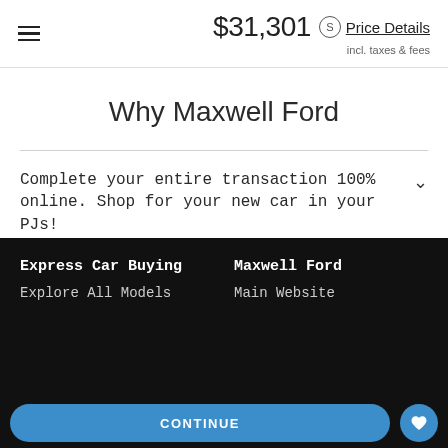$31,301 incl. taxes & fees Price Details
Why Maxwell Ford
Complete your entire transaction 100% online. Shop for your new car in your PJs!
Get up front pricing and savings for every model.
Express Car Buying
Explore All Models
Maxwell Ford
Main Website
CONTINUE